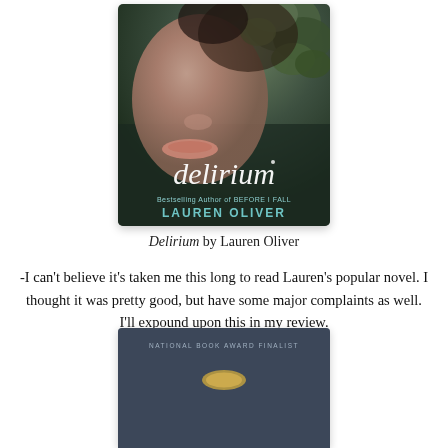[Figure (illustration): Book cover of 'Delirium' by Lauren Oliver — shows a close-up of a young woman's face with greenery/leaves, title 'delirium' in large white script, 'Bestselling Author of BEFORE I FALL' and 'LAUREN OLIVER' in teal text]
Delirium by Lauren Oliver
-I can't believe it's taken me this long to read Lauren's popular novel. I thought it was pretty good, but have some major complaints as well. I'll expound upon this in my review.
[Figure (illustration): Book cover with dark blue-gray background, 'NATIONAL BOOK AWARD FINALIST' text at top, small gold oval medallion in center]